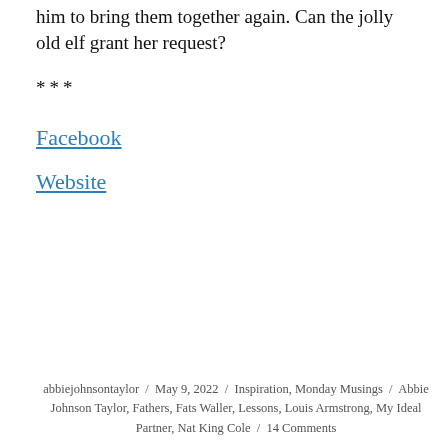him to bring them together again. Can the jolly old elf grant her request?
***
Facebook
Website
abbiejohnsontaylor / May 9, 2022 / Inspiration, Monday Musings / Abbie Johnson Taylor, Fathers, Fats Waller, Lessons, Louis Armstrong, My Ideal Partner, Nat King Cole / 14 Comments